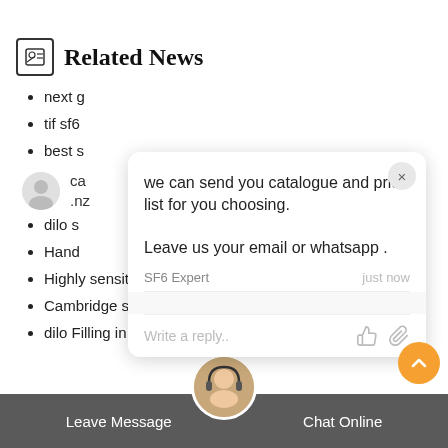Related News
next g
tif sf6
best s
[Figure (screenshot): Chat popup overlay with message: 'we can send you catalogue and price list for you choosing. Leave us your email or whatsapp.' from SF6 Expert, just now. Reply input bar with thumbs up and paperclip icons.]
dilo s
Hand
Highly sensitive sf6 Alternatives Evacuation in Singapore
Cambridge sf6 n2 filling in Somaliland
dilo Filling in New Caledon
Leave Message    Chat Online